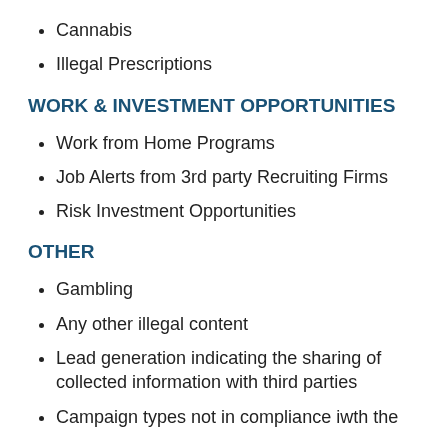Cannabis
Illegal Prescriptions
WORK & INVESTMENT OPPORTUNITIES
Work from Home Programs
Job Alerts from 3rd party Recruiting Firms
Risk Investment Opportunities
OTHER
Gambling
Any other illegal content
Lead generation indicating the sharing of collected information with third parties
Campaign types not in compliance iwth the